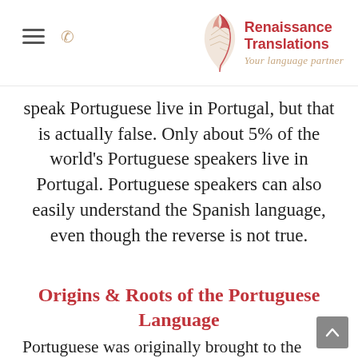Renaissance Translations — Your language partner
speak Portuguese live in Portugal, but that is actually false. Only about 5% of the world's Portuguese speakers live in Portugal. Portuguese speakers can also easily understand the Spanish language, even though the reverse is not true.
Origins & Roots of the Portuguese Language
Portuguese was originally brought to the Iberian Peninsula by Roman soldiers, settlers and merchants around 218 BC. The Romance